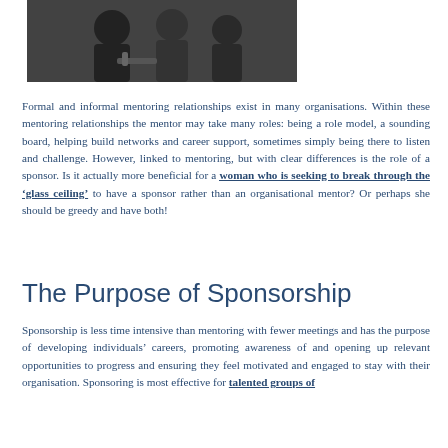[Figure (photo): Black and white photo of people in business attire, appearing to be in a meeting or discussion, partially cropped at top of page]
Formal and informal mentoring relationships exist in many organisations. Within these mentoring relationships the mentor may take many roles: being a role model, a sounding board, helping build networks and career support, sometimes simply being there to listen and challenge. However, linked to mentoring, but with clear differences is the role of a sponsor. Is it actually more beneficial for a woman who is seeking to break through the ‘glass ceiling’ to have a sponsor rather than an organisational mentor? Or perhaps she should be greedy and have both!
The Purpose of Sponsorship
Sponsorship is less time intensive than mentoring with fewer meetings and has the purpose of developing individuals’ careers, promoting awareness of and opening up relevant opportunities to progress and ensuring they feel motivated and engaged to stay with their organisation. Sponsoring is most effective for talented groups of